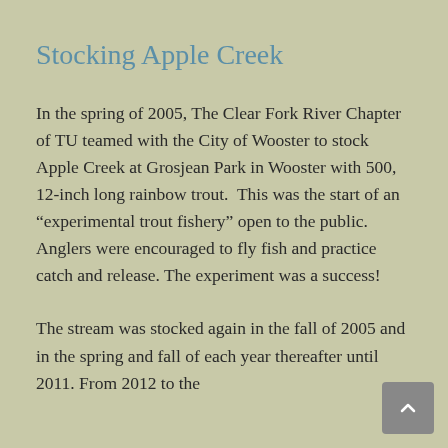Stocking Apple Creek
In the spring of 2005, The Clear Fork River Chapter of TU teamed with the City of Wooster to stock Apple Creek at Grosjean Park in Wooster with 500, 12-inch long rainbow trout.  This was the start of an “experimental trout fishery” open to the public. Anglers were encouraged to fly fish and practice catch and release. The experiment was a success!
The stream was stocked again in the fall of 2005 and in the spring and fall of each year thereafter until 2011. From 2012 to the